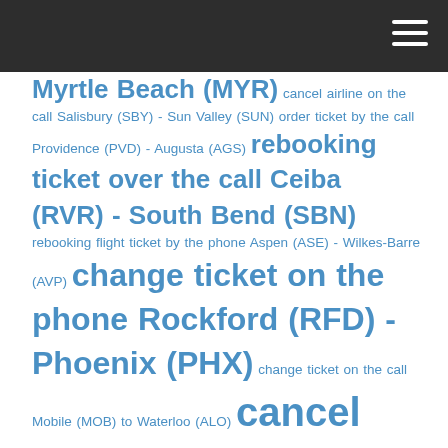Myrtle Beach (MYR) cancel airline on the call Salisbury (SBY) - Sun Valley (SUN) order ticket by the call Providence (PVD) - Augusta (AGS) rebooking ticket over the call Ceiba (RVR) - South Bend (SBN) rebooking flight ticket by the phone Aspen (ASE) - Wilkes-Barre (AVP) change ticket on the phone Rockford (RFD) - Phoenix (PHX) change ticket on the call Mobile (MOB) to Waterloo (ALO) cancel ticket flight over the call Denver (DEN) - Devils Lake (DVL) cancellation flight over the phone Tinian Island (TNI) to Montgomery (MGM) cancellation ticket on the call Aguadilla (BQN) - Sitka (SIT) cancellation ticket over the call Kenai (ENA) - Santa Rosa